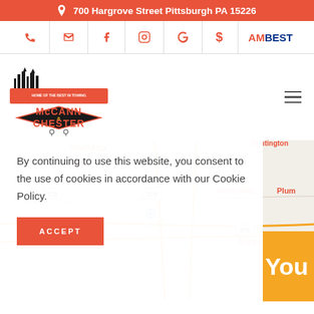700 Hargrove Street Pittsburgh PA 15226
[Figure (screenshot): Icon navigation bar with phone, email, Facebook, Instagram, Google, dollar sign, and AM Best logo icons]
[Figure (logo): McCann Chester towing company logo with Pittsburgh skyline and hook imagery]
[Figure (map): Google Maps partial view showing Pittsburgh area including Sewickley, Coraopolis, Penn Hills, Plum, Monroeville, and highway markers 79, 376, 279]
By continuing to use this website, you consent to the use of cookies in accordance with our Cookie Policy.
ACCEPT